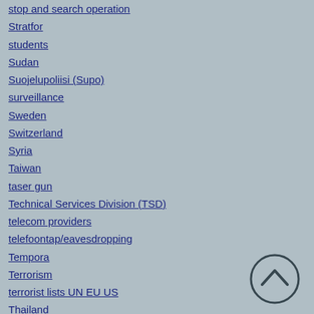stop and search operation
Stratfor
students
Sudan
Suojelupoliisi (Supo)
surveillance
Sweden
Switzerland
Syria
Taiwan
taser gun
Technical Services Division (TSD)
telecom providers
telefoontap/eavesdropping
Tempora
Terrorism
terrorist lists UN EU US
Thailand
Thales
The Asia Foundation